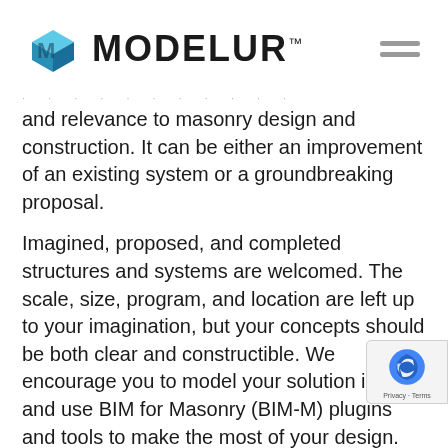[Figure (logo): Modelur logo with 3D cube icon in blue and teal, followed by MODELUR™ text in bold black]
and relevance to masonry design and construction. It can be either an improvement of an existing system or a groundbreaking proposal.
Imagined, proposed, and completed structures and systems are welcomed. The scale, size, program, and location are left up to your imagination, but your concepts should be both clear and constructible. We encourage you to model your solution in BIM and use BIM for Masonry (BIM-M) plugins and tools to make the most of your design.
For more with innovation and it...